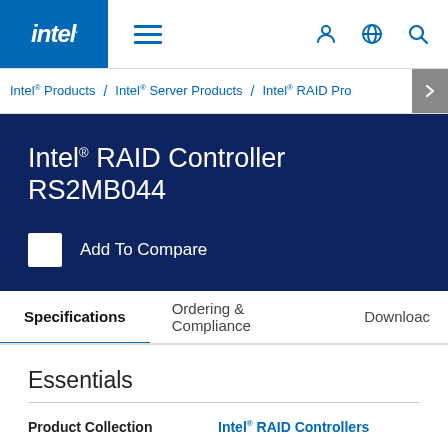intel. ≡  [user icon] [globe icon] [search icon]
Intel® Products / Intel® Server Products / Intel® RAID Pro...
Intel® RAID Controller RS2MB044
Add To Compare
Specifications
Ordering & Compliance
Downloads
Essentials
Product Collection
Intel® RAID Controllers